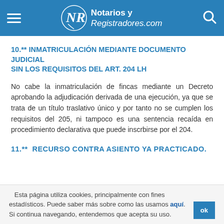Notarios y Registradores.com
10.** INMATRICULACIÓN MEDIANTE DOCUMENTO JUDICIAL SIN LOS REQUISITOS DEL ART. 204 LH
No cabe la inmatriculación de fincas mediante un Decreto aprobando la adjudicación derivada de una ejecución, ya que se trata de un título traslativo único y por tanto no se cumplen los requisitos del 205, ni tampoco es una sentencia recaída en procedimiento declarativa que puede inscrbirse por el 204.
11.** RECURSO CONTRA ASIENTO YA PRACTICADO.
Esta página utiliza cookies, principalmente con fines estadísticos. Puede saber más sobre como las usamos aquí. Si continua navegando, entendemos que acepta su uso.